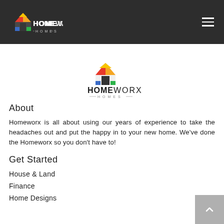[Figure (logo): HomeWorx Homes logo in header — colorful house icon with red/orange/yellow/blue/green shapes, bold text HOME WORX and subtitle HOMES on dark background]
[Figure (logo): HomeWorx Homes logo centered — same colorful house icon, bold text HOME WORX and subtitle HOMES on white background]
About
Homeworx is all about using our years of experience to take the headaches out and put the happy in to your new home. We've done the Homeworx so you don't have to!
Get Started
House & Land
Finance
Home Designs